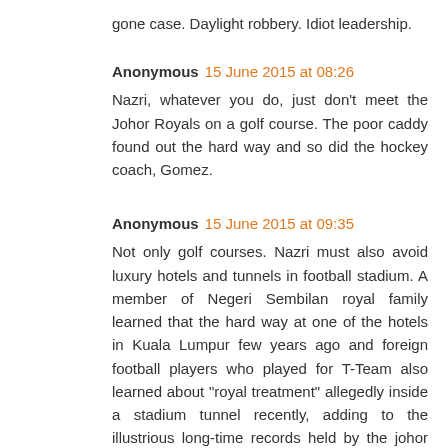gone case. Daylight robbery. Idiot leadership.
Anonymous 15 June 2015 at 08:26
Nazri, whatever you do, just don't meet the Johor Royals on a golf course. The poor caddy found out the hard way and so did the hockey coach, Gomez.
Anonymous 15 June 2015 at 09:35
Not only golf courses. Nazri must also avoid luxury hotels and tunnels in football stadium. A member of Negeri Sembilan royal family learned that the hard way at one of the hotels in Kuala Lumpur few years ago and foreign football players who played for T-Team also learned about "royal treatment" allegedly inside a stadium tunnel recently, adding to the illustrious long-time records held by the johor royal family. Now, if Nazri were to organise an event similar to